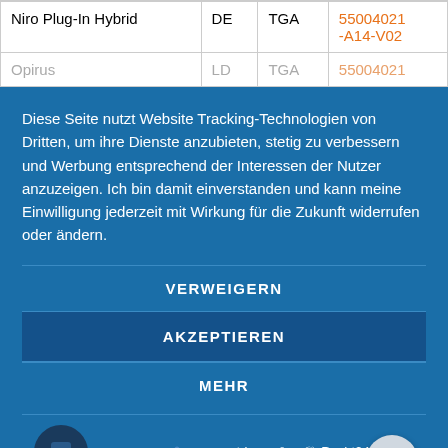|  |  |  |  |
| --- | --- | --- | --- |
| Niro Plug-In Hybrid | DE | TGA | 55004021-A14-V02 |
| Opirus | LD | TGA | 55004021... |
Diese Seite nutzt Website Tracking-Technologien von Dritten, um ihre Dienste anzubieten, stetig zu verbessern und Werbung entsprechend der Interessen der Nutzer anzuzeigen. Ich bin damit einverstanden und kann meine Einwilligung jederzeit mit Wirkung für die Zukunft widerrufen oder ändern.
VERWEIGERN
AKZEPTIEREN
MEHR
Powered by usercentrics & eRecht24